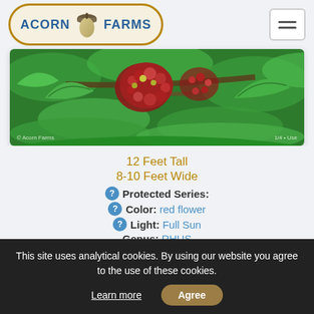ACORN FARMS
[Figure (photo): Close-up photo of red/dark mulberry fruit clusters on green leafy branches, with 'Acorn Farms' watermark]
12 Feet Tall
8-10 Feet Wide
Protected Series:
Color: red flower
Light: Full Sun
Genus: RHUS
This site uses analytical cookies. By using our website you agree to the use of these cookies.
Learn more
Agree